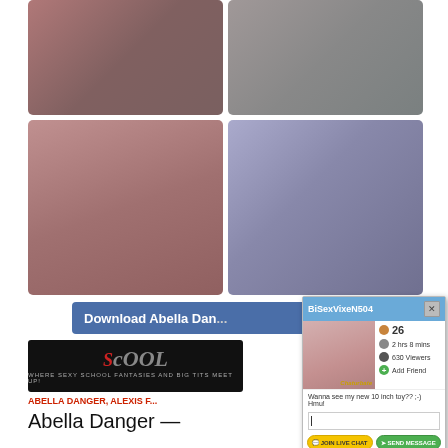[Figure (photo): Two adult content thumbnail photos in top row]
[Figure (photo): Two adult content thumbnail photos in second row]
Download Abella Dang...
[Figure (screenshot): Chaturbate popup window with username BiSexVixeN504, age 26, 2 hrs 8 mins online, 630 Viewers, Add Friend button, message 'Wanna see my new 10 inch toy?? ;-) Hmu!', JOIN LIVE CHAT and SEND MESSAGE buttons]
[Figure (logo): Big Tits at School logo - dark background with stylized text]
ABELLA DANGER, ALEXIS F...
Abella Danger